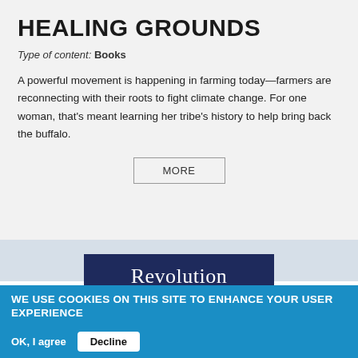HEALING GROUNDS
Type of content: Books
A powerful movement is happening in farming today—farmers are reconnecting with their roots to fight climate change. For one woman, that's meant learning her tribe's history to help bring back the buffalo.
MORE
[Figure (logo): Revolution logo — white serif text on dark navy blue background]
WE USE COOKIES ON THIS SITE TO ENHANCE YOUR USER EXPERIENCE
By clicking any link on this page you are giving your consent for us to set cookies. More info
OK, I agree   Decline